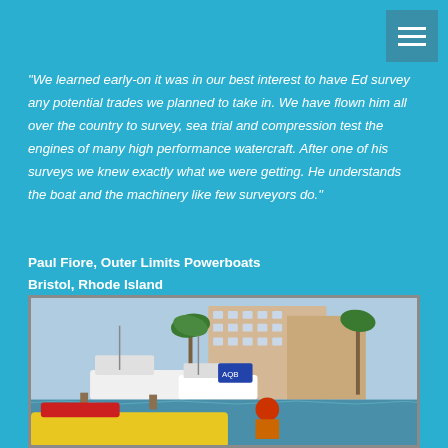[Figure (other): Hamburger menu icon button in dark teal on top right corner]
"We learned early-on it was in our best interest to have Ed survey any potential trades we planned to take in. We have flown him all over the country to survey, sea trial and compression test the engines of many high performance watercraft. After one of his surveys we knew exactly what we were getting. He understands the boat and the machinery like few surveyors do."
Paul Fiore, Outer Limits Powerboats
Bristol, Rhode Island
[Figure (photo): Marina scene with boats docked, a multi-story hotel or condominium building in the background, palm trees, and people visible in the foreground on a colorful boat.]